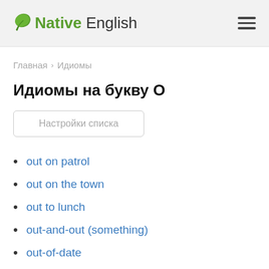Native English
Главная › Идиомы
Идиомы на букву O
Настройки списка
out on patrol
out on the town
out to lunch
out-and-out (something)
out-of-date
out-of-pocket expenses
outgrow (something)